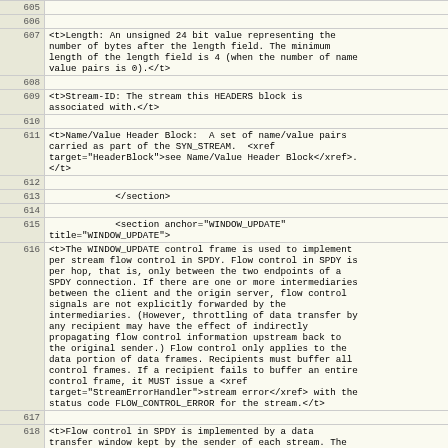| line | code |
| --- | --- |
| 605 |  |
| 606 |  |
| 607 | <t>Length: An unsigned 24 bit value representing the
      number of bytes after the length field. The minimum
      length of the length field is 4 (when the number of name
      value pairs is 0).</t> |
| 608 |  |
| 609 | <t>Stream-ID: The stream this HEADERS block is
      associated with.</t> |
| 610 |  |
| 611 | <t>Name/Value Header Block:  A set of name/value pairs
      carried as part of the SYN_STREAM.  <xref
      target="HeaderBlock">see Name/Value Header Block</xref>.
      </t> |
| 612 |  |
| 613 |             </section> |
| 614 |  |
| 615 |             <section anchor="WINDOW_UPDATE"
      title="WINDOW_UPDATE"> |
| 616 | <t>The WINDOW_UPDATE control frame is used to implement
      per stream flow control in SPDY. Flow control in SPDY is
      per hop, that is, only between the two endpoints of a
      SPDY connection. If there are one or more intermediaries
      between the client and the origin server, flow control
      signals are not explicitly forwarded by the
      intermediaries. (However, throttling of data transfer by
      any recipient may have the effect of indirectly
      propagating flow control information upstream back to
      the original sender.) Flow control only applies to the
      data portion of data frames. Recipients must buffer all
      control frames. If a recipient fails to buffer an entire
      control frame, it MUST issue a <xref
      target="StreamErrorHandler">stream error</xref> with the
      status code FLOW_CONTROL_ERROR for the stream.</t> |
| 617 |  |
| 618 | <t>Flow control in SPDY is implemented by a data
      transfer window kept by the sender of each stream. The |